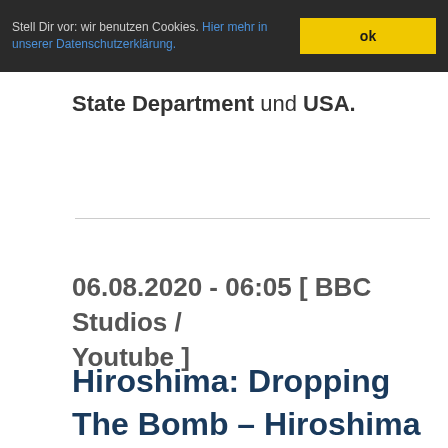Stell Dir vor: wir benutzen Cookies. Hier mehr in unserer Datenschutzerklärung. ok
State Department und USA.
06.08.2020 - 06:05 [ BBC Studios / Youtube ]
Hiroshima: Dropping The Bomb – Hiroshima – BBC